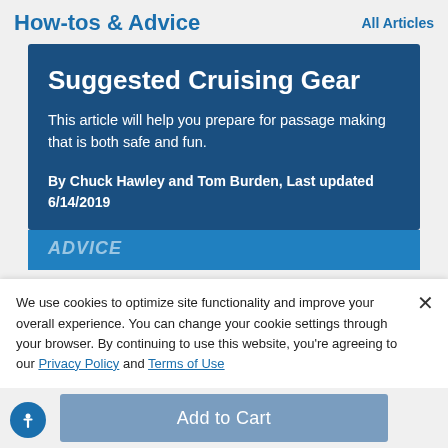How-tos & Advice    All Articles
Suggested Cruising Gear
This article will help you prepare for passage making that is both safe and fun.
By Chuck Hawley and Tom Burden, Last updated 6/14/2019
ADVICE
We use cookies to optimize site functionality and improve your overall experience. You can change your cookie settings through your browser. By continuing to use this website, you're agreeing to our Privacy Policy and Terms of Use
Add to Cart